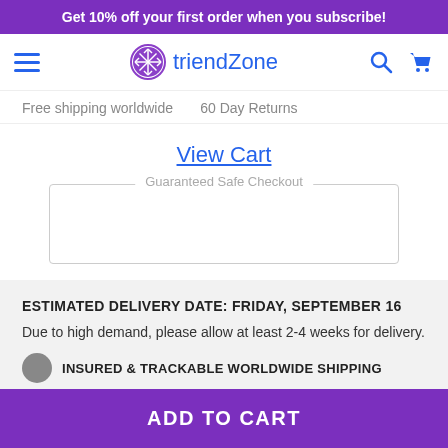Get 10% off your first order when you subscribe!
[Figure (logo): triendZone logo with purple snowflake icon and blue text]
Free shipping worldwide   60 Day Returns
View Cart
Guaranteed Safe Checkout
ESTIMATED DELIVERY DATE: FRIDAY, SEPTEMBER 16
Due to high demand, please allow at least 2-4 weeks for delivery.
INSURED & TRACKABLE WORLDWIDE SHIPPING
ADD TO CART